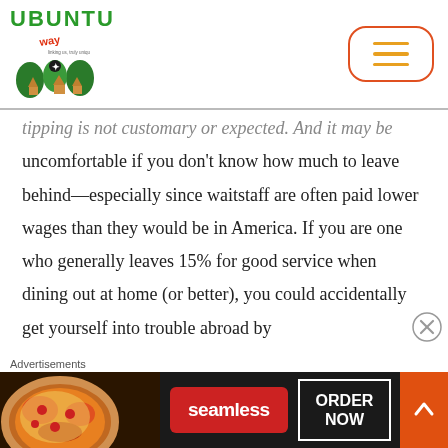[Figure (logo): Ubuntu Way logo with green text 'UBUNTU' and tagline, featuring illustration of traditional huts and figure]
tipping is not customary or expected. And it may be uncomfortable if you don't know how much to leave behind—especially since waitstaff are often paid lower wages than they would be in America. If you are one who generally leaves 15% for good service when dining out at home (or better), you could accidentally get yourself into trouble abroad by
[Figure (screenshot): Advertisement banner: Seamless food delivery - pizza image, Seamless brand button, ORDER NOW button]